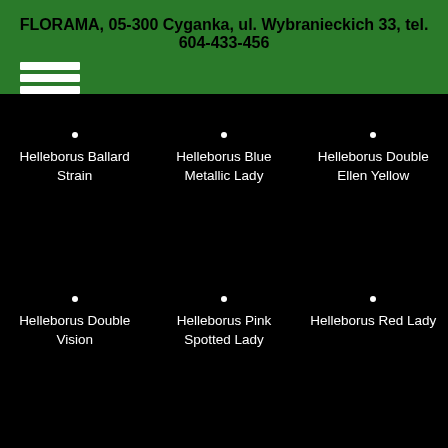FLORAMA, 05-300 Cyganka, ul. Wybranieckich 33, tel. 604-433-456
Helleborus Ballard Strain
Helleborus Blue Metallic Lady
Helleborus Double Ellen Yellow
Helleborus Double Vision
Helleborus Pink Spotted Lady
Helleborus Red Lady